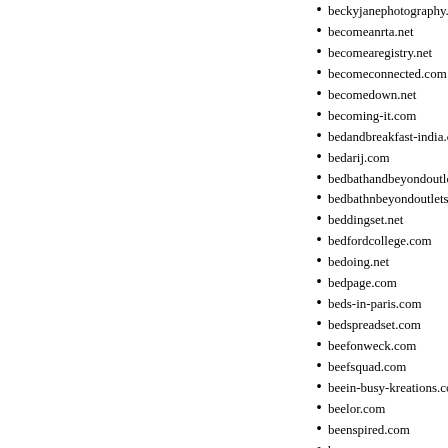beckyjanephotography.com
becomeanrta.net
becomearegistry.net
becomeconnected.com
becomedown.net
becoming-it.com
bedandbreakfast-india.com
bedarij.com
bedbathandbeyondoutlets.co
bedbathnbeyondoutlets.com
beddingset.net
bedfordcollege.com
bedoing.net
bedpage.com
beds-in-paris.com
bedspreadset.com
beefonweck.com
beefsquad.com
beein-busy-kreations.com
beelor.com
beenspired.com
beer-cn.com
beer-in.com
beer-us.com
beerbellybabes.com
beersforyears.com
beesternet.com
beesweets.com